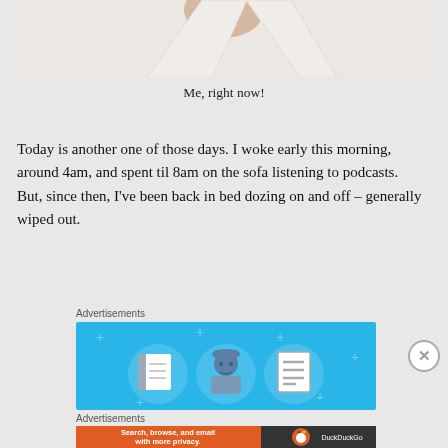[Figure (photo): Person wearing a white robe or bathrobe, cropped to show neck/chest area]
Me, right now!
Today is another one of those days. I woke early this morning, around 4am, and spent til 8am on the sofa listening to podcasts. But, since then, I’ve been back in bed dozing on and off – generally wiped out.
Advertisements
[Figure (illustration): DuckDuckGo style advertisement banner with blue background showing icons of a notepad, a person with hardhat, and a list/document. Decorative plus signs scattered around.]
Advertisements
[Figure (illustration): DuckDuckGo advertisement: orange left panel reading 'Search, browse, and email with more privacy. All in One Free App' and dark right panel with DuckDuckGo duck logo and brand name.]